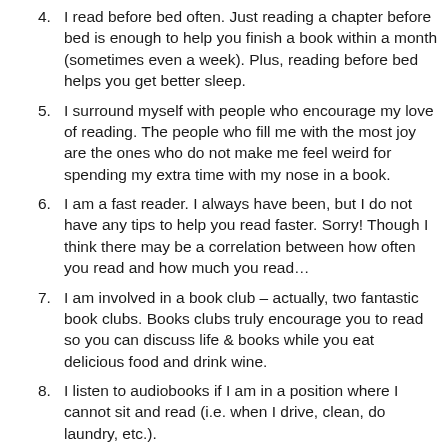4. I read before bed often. Just reading a chapter before bed is enough to help you finish a book within a month (sometimes even a week). Plus, reading before bed helps you get better sleep.
5. I surround myself with people who encourage my love of reading. The people who fill me with the most joy are the ones who do not make me feel weird for spending my extra time with my nose in a book.
6. I am a fast reader. I always have been, but I do not have any tips to help you read faster. Sorry! Though I think there may be a correlation between how often you read and how much you read…
7. I am involved in a book club – actually, two fantastic book clubs. Books clubs truly encourage you to read so you can discuss life & books while you eat delicious food and drink wine.
8. I listen to audiobooks if I am in a position where I cannot sit and read (i.e. when I drive, clean, do laundry, etc.).
9. My house is seldom cleaned from top to bottom. If the downstairs is clean, the upstairs is a mess, and vice